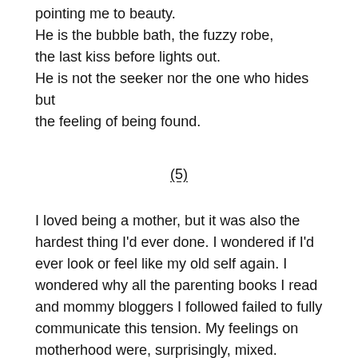pointing me to beauty.
He is the bubble bath, the fuzzy robe,
the last kiss before lights out.
He is not the seeker nor the one who hides but
the feeling of being found.
(5)
I loved being a mother, but it was also the hardest thing I'd ever done. I wondered if I'd ever look or feel like my old self again. I wondered why all the parenting books I read and mommy bloggers I followed failed to fully communicate this tension. My feelings on motherhood were, surprisingly, mixed.
(6)
On the page I belong to no one but myself. There's no crying to comfort, no milk to fetch, no bottoms to wipe.